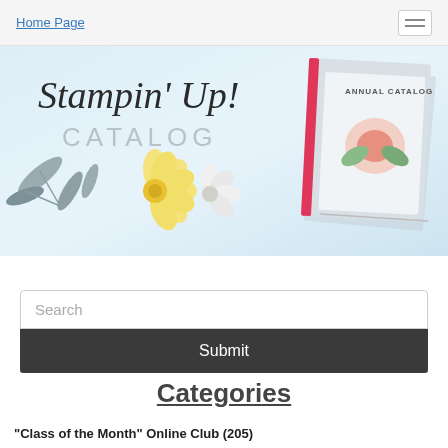Home Page
[Figure (illustration): Stampin' Up! Annual Catalog promotional banner with decorative flowers and a catalog book image]
Search
Submit
Categories
"Class of the Month" Online Club (205)